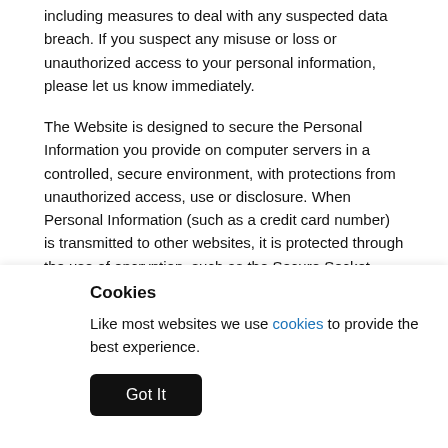including measures to deal with any suspected data breach. If you suspect any misuse or loss or unauthorized access to your personal information, please let us know immediately.
The Website is designed to secure the Personal Information you provide on computer servers in a controlled, secure environment, with protections from unauthorized access, use or disclosure. When Personal Information (such as a credit card number) is transmitted to other websites, it is protected through the use of encryption, such as the Secure Socket Layer (SSL) protocol.
However, while we do our best to protect your Personal Information, we cannot guarantee the security of all data which is transmitted to the Website or to another website via the internet or similar connection. If we have given you (or you have chosen) a password to access certain areas of the Website, please keep this password safe.
Y
U...
P...
T...
Cookies
Like most websites we use cookies to provide the best experience.
Got It